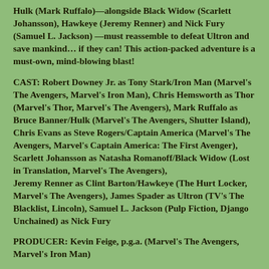Hulk (Mark Ruffalo)—alongside Black Widow (Scarlett Johansson), Hawkeye (Jeremy Renner) and Nick Fury (Samuel L. Jackson) —must reassemble to defeat Ultron and save mankind… if they can! This action-packed adventure is a must-own, mind-blowing blast!
CAST: Robert Downey Jr. as Tony Stark/Iron Man (Marvel's The Avengers, Marvel's Iron Man), Chris Hemsworth as Thor (Marvel's Thor, Marvel's The Avengers), Mark Ruffalo as Bruce Banner/Hulk (Marvel's The Avengers, Shutter Island), Chris Evans as Steve Rogers/Captain America (Marvel's The Avengers, Marvel's Captain America: The First Avenger), Scarlett Johansson as Natasha Romanoff/Black Widow (Lost in Translation, Marvel's The Avengers), Jeremy Renner as Clint Barton/Hawkeye (The Hurt Locker, Marvel's The Avengers), James Spader as Ultron (TV's The Blacklist, Lincoln), Samuel L. Jackson (Pulp Fiction, Django Unchained) as Nick Fury
PRODUCER: Kevin Feige, p.g.a. (Marvel's The Avengers, Marvel's Iron Man)